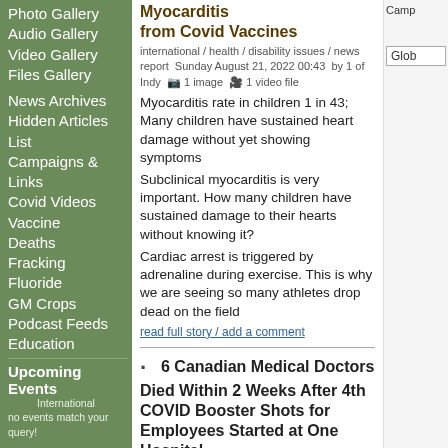Photo Gallery
Audio Gallery
Video Gallery
Files Gallery
News Archives
Hidden Articles List
Campaigns & Links
Covid Videos
Vaccine Deaths
Fracking
Fluoride
GM Crops
Podcast Feeds
Education
Upcoming Events
International
no events match your query!
Myocarditis from Covid Vaccines
international / health / disability issues / news report  Sunday August 21, 2022 00:43  by 1 of Indy    1 image    1 video file
Myocarditis rate in children 1 in 43; Many children have sustained heart damage without yet showing symptoms
Subclinical myocarditis is very important. How many children have sustained damage to their hearts without knowing it?
Cardiac arrest is triggered by adrenaline during exercise. This is why we are seeing so many athletes drop dead on the field
read full story / add a comment
6 Canadian Medical Doctors Died Within 2 Weeks After 4th COVID Booster Shots for Employees Started at One Hospital
international / health / disability issues / other press  Friday August 12, 2022 00:38  by 1 of Indy    1 image
This report whilst two weeks old is unlikely to have got any coverage in the mainstream media and it is still very